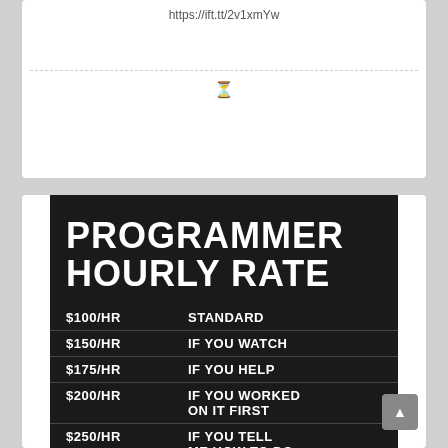https://ift.tt/2v1xmYw
[Figure (infographic): Programmer Hourly Rate sign on black background. Lists: $100/HR STANDARD, $150/HR IF YOU WATCH, $175/HR IF YOU HELP, $200/HR IF YOU WORKED ON IT FIRST, $250/HR IF YOU TELL ME HOW TO DO (text cut off)]